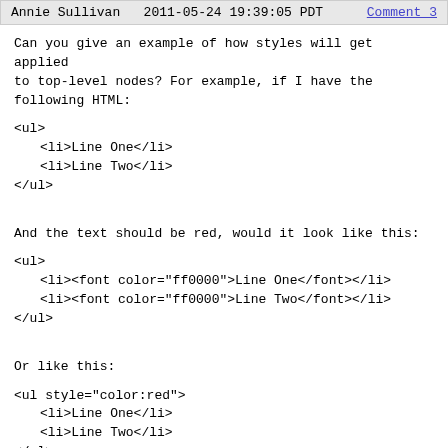Annie Sullivan   2011-05-24 19:39:05 PDT   Comment 3
Can you give an example of how styles will get applied to top-level nodes? For example, if I have the following HTML:
<ul>
  <li>Line One</li>
  <li>Line Two</li>
</ul>
And the text should be red, would it look like this:
<ul>
  <li><font color="ff0000">Line One</font></li>
  <li><font color="ff0000">Line Two</font></li>
</ul>
Or like this:
<ul style="color:red">
  <li>Line One</li>
  <li>Line Two</li>
</ul>
Or something else? Do I understand correctly that we currently wrap the <font> or <span> tag around the entire <ul>?